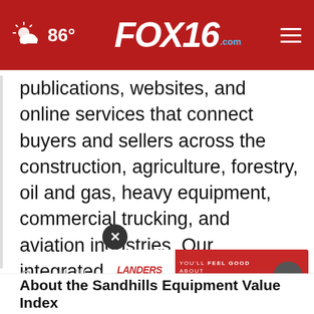86° FOX16.com
publications, websites, and online services that connect buyers and sellers across the construction, agriculture, forestry, oil and gas, heavy equipment, commercial trucking, and aviation industries. Our integrated, industry-specific approach to hosted technologies and services offers solutions that help businesses large and small operate efficiently and grow securely, cost-effectively, and successfully
Sandhills Global...
[Figure (other): Landers Auto Group advertisement banner with 'You'll Feel Good About Landers' text and arrow button]
About the Sandhills Equipment Value Index